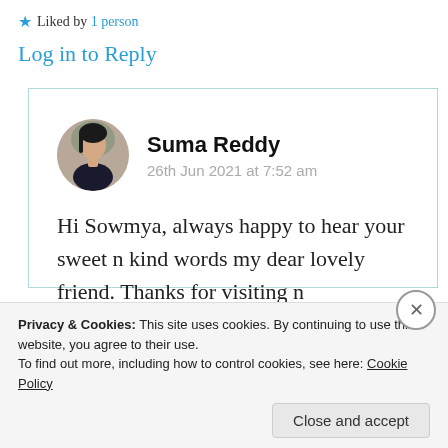★ Liked by 1 person
Log in to Reply
Suma Reddy
26th Jun 2021 at 7:52 am
Hi Sowmya, always happy to hear your sweet n kind words my dear lovely friend. Thanks for visiting n
Privacy & Cookies: This site uses cookies. By continuing to use this website, you agree to their use.
To find out more, including how to control cookies, see here: Cookie Policy
Close and accept